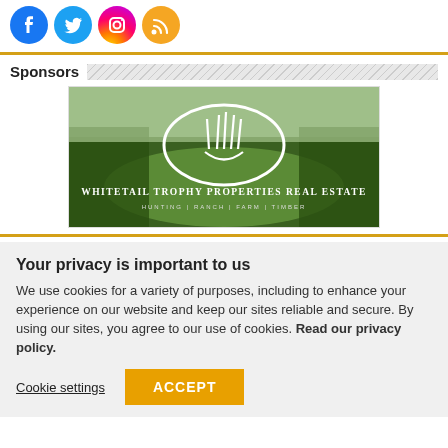[Figure (logo): Social media icons: Facebook (blue circle), Twitter (blue circle), Instagram (gradient circle), RSS feed (orange circle)]
Sponsors
[Figure (photo): Whitetail Trophy Properties Real Estate advertisement — aerial photo of green fields and forests with white logo and text: WHITETAIL TROPHY PROPERTIES REAL ESTATE, HUNTING | RANCH | FARM | TIMBER]
Your privacy is important to us
We use cookies for a variety of purposes, including to enhance your experience on our website and keep our sites reliable and secure. By using our sites, you agree to our use of cookies. Read our privacy policy.
Cookie settings
ACCEPT